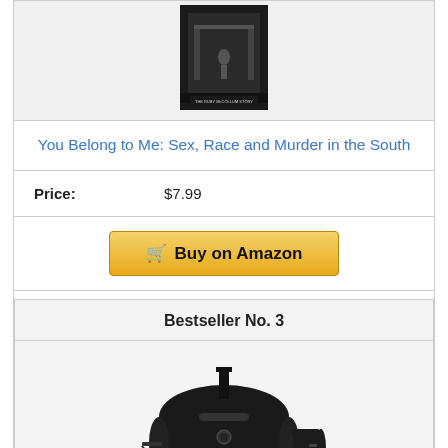[Figure (photo): Book cover image for 'The Ruby McCollum Story' — dark monochrome cover with figures visible]
You Belong to Me: Sex, Race and Murder in the South
Price: $7.99
[Figure (other): Buy on Amazon button with shopping cart icon]
Bestseller No. 3
[Figure (photo): Black barrel-style offset smoker grill on wheels with chimney stack and lower shelf]